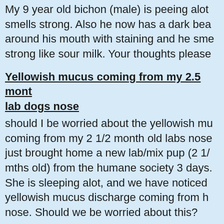My 9 year old bichon (male) is peeing alot smells strong. Also he now has a dark bea around his mouth with staining and he sme strong like sour milk. Your thoughts please
Yellowish mucus coming from my 2.5 mont lab dogs nose
should I be worried about the yellowish mu coming from my 2 1/2 month old labs nose just brought home a new lab/mix pup (2 1/ mths old) from the humane society 3 days. She is sleeping alot, and we have noticed yellowish mucus discharge coming from h nose. Should we be worried about this?
Maltese dog looks like he has a blood clot
maltese looks like he has a blood clot and like bleeding in is in conta if t